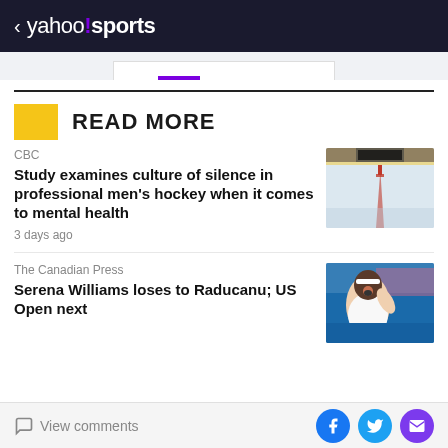< yahoo!sports
READ MORE
CBC
Study examines culture of silence in professional men's hockey when it comes to mental health
3 days ago
[Figure (photo): Ice hockey rink surface with a red marking line visible]
The Canadian Press
Serena Williams loses to Raducanu; US Open next
[Figure (photo): Serena Williams celebrating or reacting emotionally on tennis court]
View comments